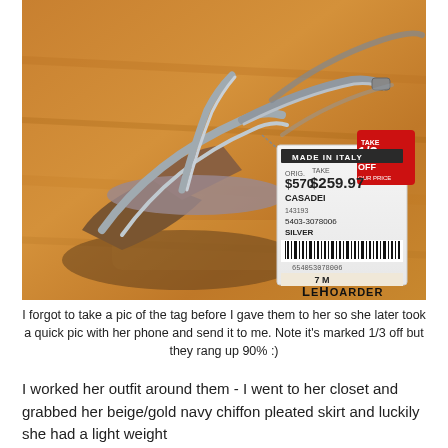[Figure (photo): Photo of silver high-heeled sandals (Casadei, Made in Italy) on a wood floor with a price tag showing original price $570, sale price $259.97, marked 1/3 off, size 7M, color Silver, barcode 5403-3078006. Watermark 'LeHoarder' in bottom right.]
I forgot to take a pic of the tag before I gave them to her so she later took a quick pic with her phone and send it to me. Note it's marked 1/3 off but they rang up 90% :)
I worked her outfit around them - I went to her closet and grabbed her beige/gold navy chiffon pleated skirt and luckily she had a light weight